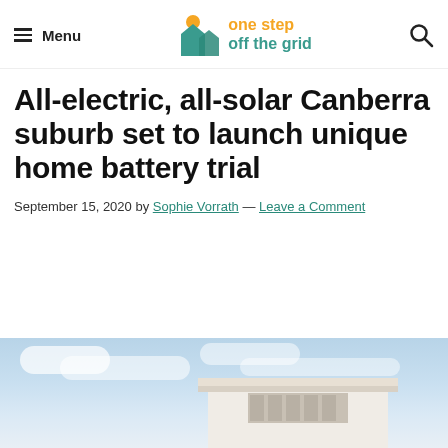Menu | one step off the grid
All-electric, all-solar Canberra suburb set to launch unique home battery trial
September 15, 2020 by Sophie Vorrath — Leave a Comment
[Figure (photo): Exterior of a modern white house under a partly cloudy blue sky]